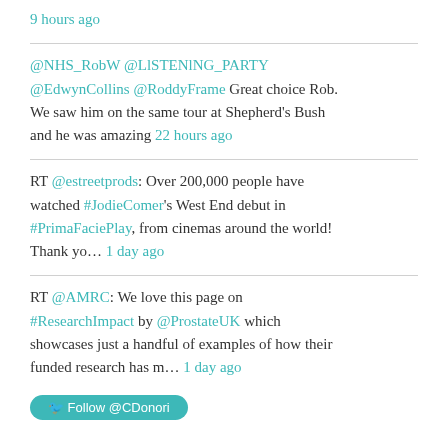9 hours ago
@NHS_RobW @LISTENING_PARTY @EdwynCollins @RoddyFrame Great choice Rob. We saw him on the same tour at Shepherd's Bush and he was amazing 22 hours ago
RT @estreetprods: Over 200,000 people have watched #JodieComer's West End debut in #PrimaFaciePlay, from cinemas around the world! Thank yo... 1 day ago
RT @AMRC: We love this page on #ResearchImpact by @ProstateUK which showcases just a handful of examples of how their funded research has m... 1 day ago
Follow @CDonori